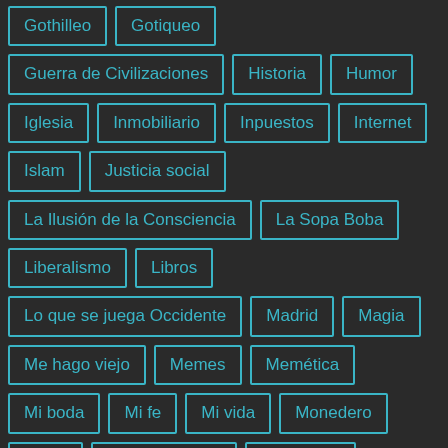Gothilleo
Gotiqueo
Guerra de Civilizaciones
Historia
Humor
Iglesia
Inmobiliario
Inpuestos
Internet
Islam
Justicia social
La Ilusión de la Consciencia
La Sopa Boba
Liberalismo
Libros
Lo que se juega Occidente
Madrid
Magia
Me hago viejo
Memes
Memética
Mi boda
Mi fe
Mi vida
Monedero
Moral
pajas mentales
Pensiones
Política
Populismo